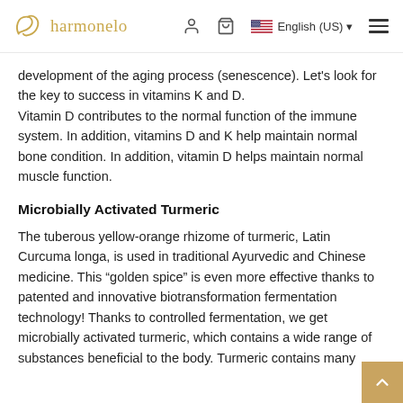harmonelo | English (US)
development of the aging process (senescence). Let's look for the key to success in vitamins K and D.
Vitamin D contributes to the normal function of the immune system. In addition, vitamins D and K help maintain normal bone condition. In addition, vitamin D helps maintain normal muscle function.
Microbially Activated Turmeric
The tuberous yellow-orange rhizome of turmeric, Latin Curcuma longa, is used in traditional Ayurvedic and Chinese medicine. This “golden spice” is even more effective thanks to patented and innovative biotransformation fermentation technology! Thanks to controlled fermentation, we get microbially activated turmeric, which contains a wide range of substances beneficial to the body. Turmeric contains many